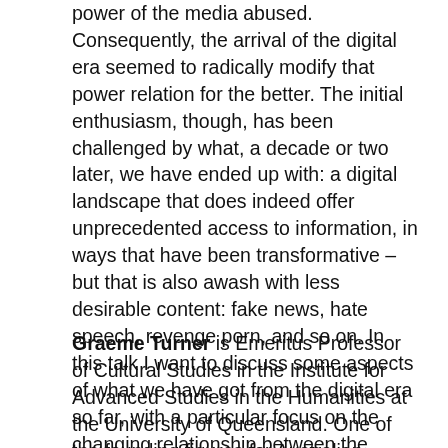power of the media abused. Consequently, the arrival of the digital era seemed to radically modify that power relation for the better. The initial enthusiasm, though, has been challenged by what, a decade or two later, we have ended up with: a digital landscape that does indeed offer unprecedented access to information, in ways that have been transformative – but that is also awash with less desirable content: fake news, hate speech, revenge porn, and so on. In this talk I want to discuss some aspects of what we have got from the digital era so far, with a particular focus on the changing relationship between the media and democracy – and within that, the role of news, information and the practice of journalism.
Graeme Turner is Emeritus Professor of Cultural Studies in the Institute for Advanced Studies in the Humanities at the University of Queensland. One of the founding figures for Australian cultural studies, and in the development of the field internationally, he has published